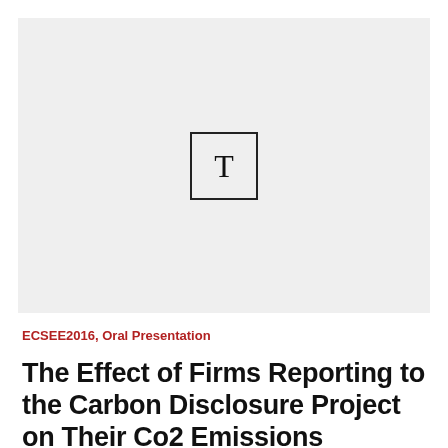[Figure (other): Placeholder image with a T icon in a square box on a light grey background]
ECSEE2016, Oral Presentation
The Effect of Firms Reporting to the Carbon Disclosure Project on Their Co2 Emissions